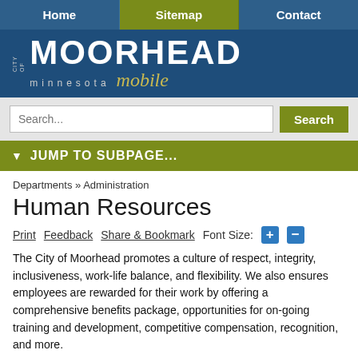Home | Sitemap | Contact
[Figure (logo): City of Moorhead Minnesota Mobile logo on dark blue background]
Search...
▼ JUMP TO SUBPAGE...
Departments » Administration
Human Resources
Print    Feedback    Share & Bookmark    Font Size: + -
The City of Moorhead promotes a culture of respect, integrity, inclusiveness, work-life balance, and flexibility. We also ensures employees are rewarded for their work by offering a comprehensive benefits package, opportunities for on-going training and development, competitive compensation, recognition, and more.
The City of Moorhead employs approximately 280 full-time employees and 340 seasonal/part-time employees throughout the year. We strive to attract and retain employees who see themselves as service leaders who are committed to the people of Moorhead and their community.